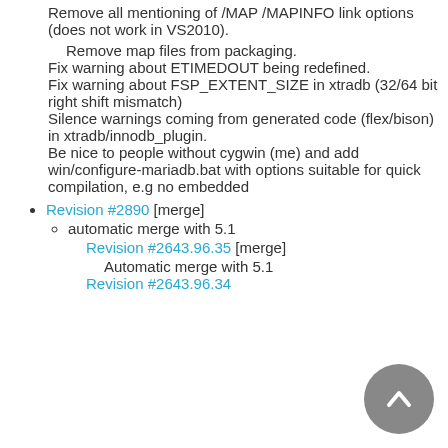Remove all mentioning of /MAP /MAPINFO link options (does not work in VS2010).
Remove map files from packaging.
Fix warning about ETIMEDOUT being redefined.
Fix warning about FSP_EXTENT_SIZE in xtradb (32/64 bit right shift mismatch)
Silence warnings coming from generated code (flex/bison) in xtradb/innodb_plugin.
Be nice to people without cygwin (me) and add win/configure-mariadb.bat with options suitable for quick compilation, e.g no embedded
Revision #2890 [merge]
automatic merge with 5.1
Revision #2643.96.35 [merge]
Automatic merge with 5.1
Revision #2643.96.34